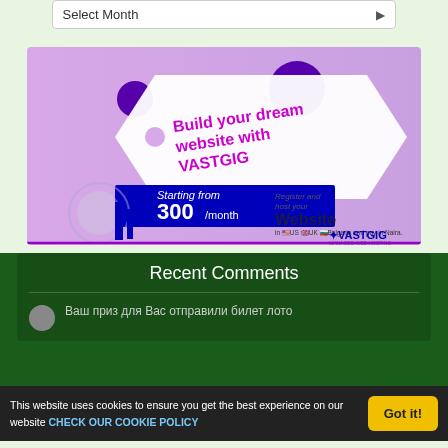[Figure (infographic): VASTGIG web hosting advertisement banner. Purple/lavender gradient background with price tag shape containing text 'Build your dream website with VASTGIG'. Blue ribbon banner reads 'Starting from 300/month'. Right side says 'Register and host your Website in US, UK, Bulgaria and pay in Naira. VASTGIG MANAGED WEB HOSTING.']
Recent Comments
Ваш приз для Вас отправили билет лото
This website uses cookies to ensure you get the best experience on our website CHECK OUR COOKIE POLICY